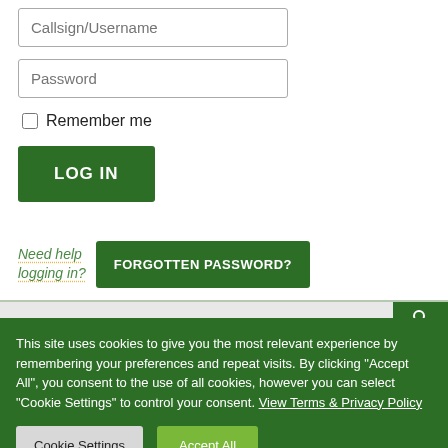[Figure (screenshot): Login form with Password input field, Remember me checkbox, LOG IN button, Need help logging in? link, and FORGOTTEN PASSWORD? button on a light green background]
This site uses cookies to give you the most relevant experience by remembering your preferences and repeat visits. By clicking "Accept All", you consent to the use of all cookies, however you can select "Cookie Settings" to control your consent. View Terms & Privacy Policy
Cookie Settings
Accept All